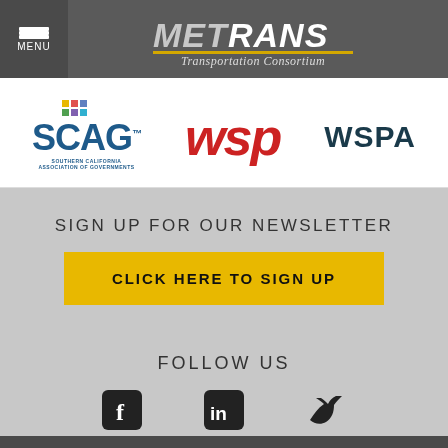MENU | METRANS Transportation Consortium
[Figure (logo): Partner logos: SCAG (Southern California Association of Governments), WSP, WSPA]
SIGN UP FOR OUR NEWSLETTER
CLICK HERE TO SIGN UP
FOLLOW US
[Figure (other): Social media icons: Facebook, LinkedIn, Twitter]